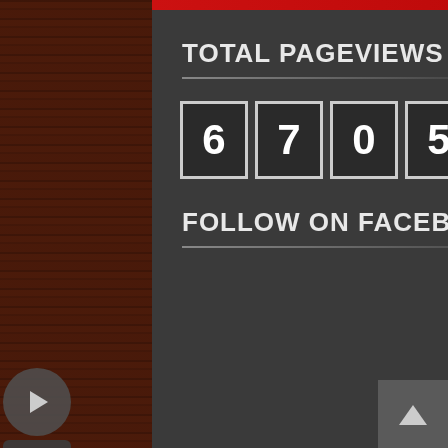TOTAL PAGEVIEWS
67059309
FOLLOW ON FACEBOOK
Copyright © 2022 GUITAR CHORD WORLD Some Rights Reserved
Powered by Blogger | Best Viewed in Google Chrome
All lyrics are copyrighted to their respective owners. All contents are restricted for educational, personal or fair use only
You may allowed to republish contents with a valid backlink to the original source
Posts RSS